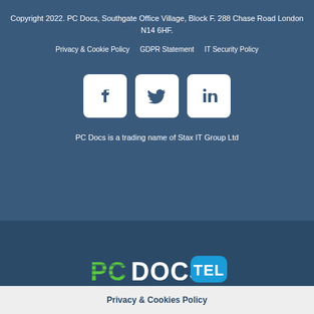Copyright 2022. PC Docs, Southgate Office Village, Block F. 288 Chase Road London N14 6HF.
Privacy & Cookie Policy   GDPR Statement   IT Security Policy
[Figure (logo): Three social media icons: Facebook, Twitter, LinkedIn in white rounded square boxes on dark blue background]
PC Docs is a trading name of Stax IT Group Ltd
[Figure (logo): PC Docs TEL logo - green striped PC DOCS text and blue rounded TEL badge]
Visit our Communications Website for more info on all our telecoms services
Privacy & Cookies Policy